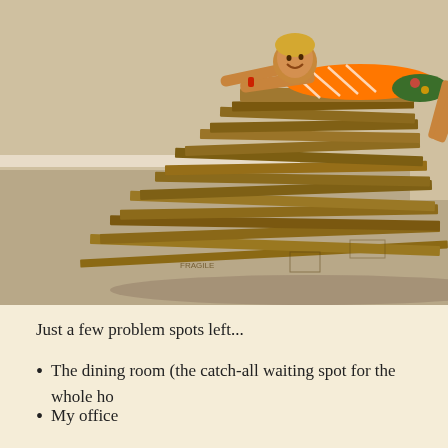[Figure (photo): A smiling woman in an orange striped tank top and floral shorts lying on top of a large pile of flattened cardboard boxes on a carpeted floor in a room with beige walls, arms outstretched like she is flying.]
Just a few problem spots left...
The dining room (the catch-all waiting spot for the whole ho
My office